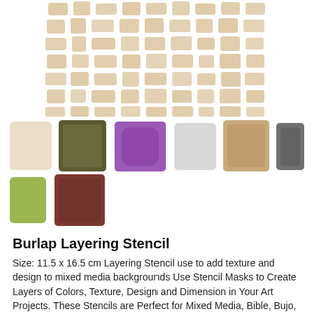[Figure (illustration): Burlap layering stencil pattern showing a grid of rounded rectangular shapes in tan/beige color on white background, resembling a textile weave or brick pattern.]
[Figure (illustration): Color swatches showing eight different fabric/material samples: light beige, olive/dark green, purple, light gray, tan/beige, dark gray, green/yellow-green, and brown/dark russet.]
Burlap Layering Stencil
Size: 11.5 x 16.5 cm Layering Stencil use to add texture and design to mixed media backgrounds Use Stencil Masks to Create Layers of Colors, Texture, Design and Dimension in Your Art Projects. These Stencils are Perfect for Mixed Media, Bible, Bujo, Journal or Daily